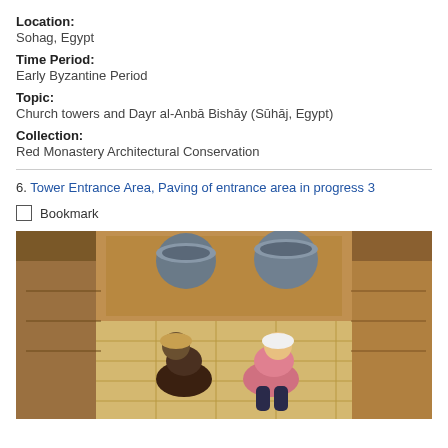Location:
Sohag, Egypt
Time Period:
Early Byzantine Period
Topic:
Church towers and Dayr al-Anbā Bishāy (Sūhāj, Egypt)
Collection:
Red Monastery Architectural Conservation
6. Tower Entrance Area, Paving of entrance area in progress 3
Bookmark
[Figure (photo): Aerial/overhead view of two workers paving an entrance area between stone walls. Two large metal buckets are visible at the top. Workers are crouching on a stone floor laying tiles. Warm sandy stone walls surround a narrow corridor.]